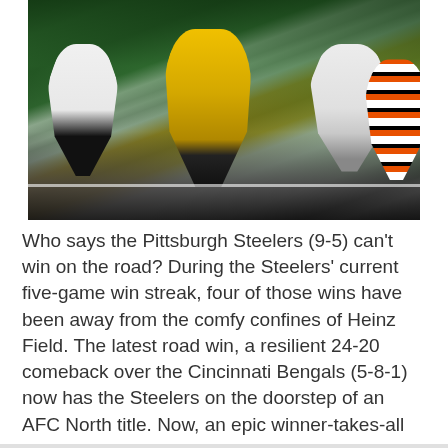[Figure (photo): Football game action photo showing Pittsburgh Steelers players (in white and gold/yellow uniforms) competing against Cincinnati Bengals players (in white with orange/black tiger stripes) on a green field.]
Who says the Pittsburgh Steelers (9-5) can't win on the road? During the Steelers' current five-game win streak, four of those wins have been away from the comfy confines of Heinz Field. The latest road win, a resilient 24-20 comeback over the Cincinnati Bengals (5-8-1) now has the Steelers on the doorstep of an AFC North title. Now, an epic winner-takes-all matchup with the Baltimore Ravens on Christmas Day awaits. But before we get the Ravens, let's look at the best and worst from ...